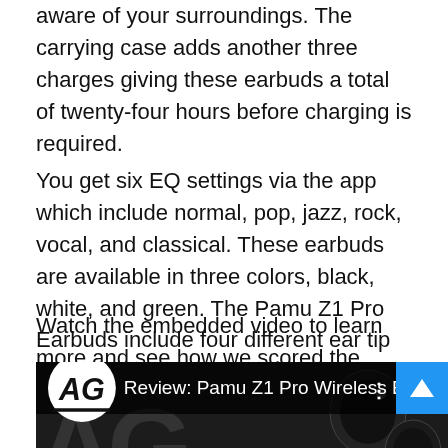aware of your surroundings. The carrying case adds another three charges giving these earbuds a total of twenty-four hours before charging is required.
You get six EQ settings via the app which include normal, pop, jazz, rock, vocal, and classical. These earbuds are available in three colors, black, white, and green. The Pamu Z1 Pro Earbuds include four different ear tip sizes to maximize their fit and comfort. Check out our video review to see why we gave it the score that we did.
Watch the embedded video to learn more and see how we scored the various components.
[Figure (screenshot): YouTube video thumbnail for 'Review: Pamu Z1 Pro Wireless Earb...' showing the AG logo and earbuds]